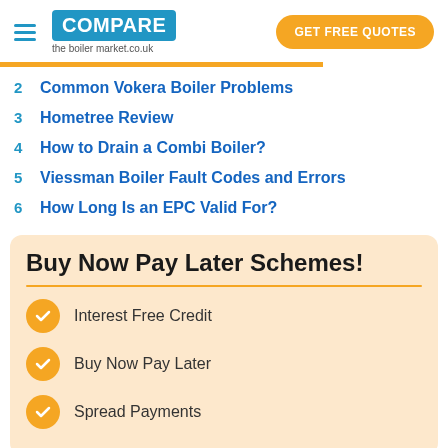COMPARE the boiler market.co.uk | GET FREE QUOTES
2 Common Vokera Boiler Problems
3 Hometree Review
4 How to Drain a Combi Boiler?
5 Viessman Boiler Fault Codes and Errors
6 How Long Is an EPC Valid For?
Buy Now Pay Later Schemes!
Interest Free Credit
Buy Now Pay Later
Spread Payments